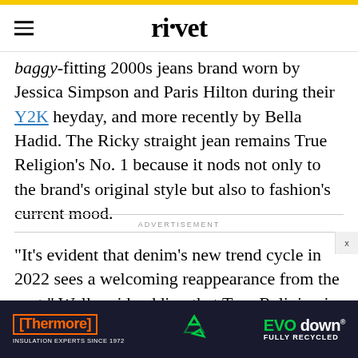rivet
baggy-fitting 2000s jeans brand worn by Jessica Simpson and Paris Hilton during their Y2K heyday, and more recently by Bella Hadid. The Ricky straight jean remains True Religion's No. 1 because it nods not only to the brand's original style but also to fashion's current mood.
ADVERTISEMENT
“It’s evident that denim’s new trend cycle in 2022 sees a welcoming reappearance from the past,” Wells said, adding that True Religion is delivering on this demand for nostalgia with archival styles like low-
[Figure (photo): Advertisement banner for Thermore EVO down insulation with orange and green text on dark navy background]